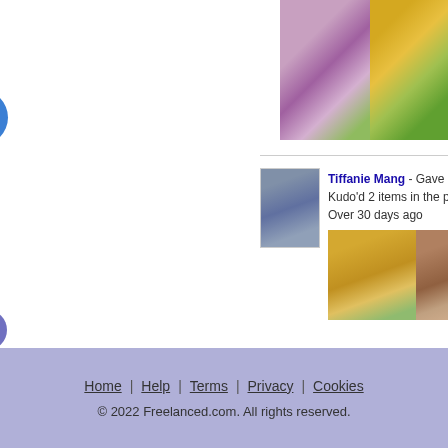[Figure (photo): Two artwork images side by side: left showing purple flowers/magnolias, right showing a yellow and black bee on green foliage]
Tiffanie Mang - Gave 2 kudos
Kudo'd 2 items in the portfolio
Over 30 days ago
[Figure (photo): Two portfolio artwork images: left showing Egyptian pyramid scene with figures, right showing Native American chief with headdress]
Tiffanie Mang - Gave 1 kudo
Said "Simon is the BEST!!!!!
Over 30 days ago - Like
Simon Streatfeild - commented: :D
Home | Help | Terms | Privacy | Cookies
© 2022 Freelanced.com.  All rights reserved.